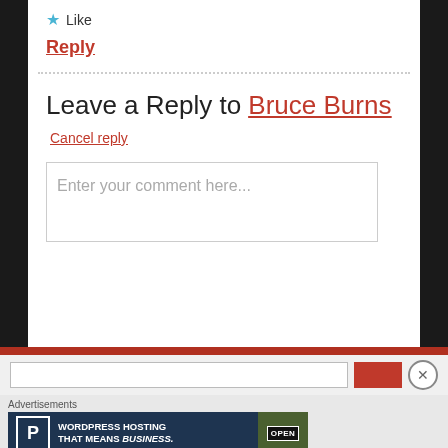★ Like
Reply
Leave a Reply to Bruce Burns
Cancel reply
Enter your comment here...
Advertisements
[Figure (screenshot): WordPress Hosting That Means Business advertisement banner with P logo and OPEN sign photo]